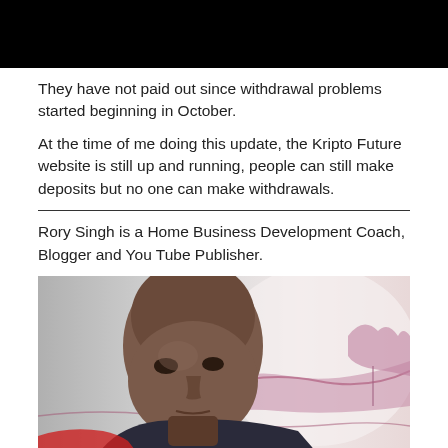[Figure (photo): Black rectangle image at top of page]
They have not paid out since withdrawal problems started beginning in October.
At the time of me doing this update, the Kripto Future website is still up and running, people can still make deposits but no one can make withdrawals.
Rory Singh is a Home Business Development Coach, Blogger and You Tube Publisher.
[Figure (photo): Portrait photo of a bald man looking upward, with a stylized pink/purple winter landscape in the background]